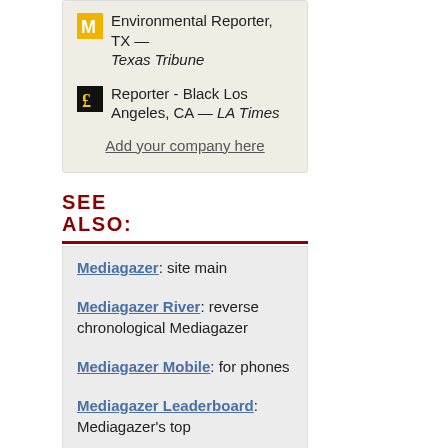Environmental Reporter, TX — Texas Tribune
Reporter - Black Los Angeles, CA — LA Times
Add your company here
SEE ALSO:
Mediagazer: site main
Mediagazer River: reverse chronological Mediagazer
Mediagazer Mobile: for phones
Mediagazer Leaderboard: Mediagazer's top